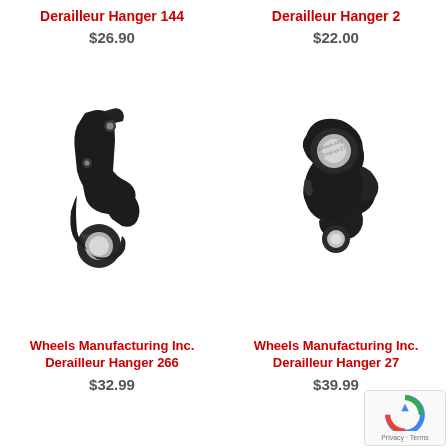Derailleur Hanger 144
$26.90
[Figure (photo): Black metal derailleur hanger 144, hook-shaped bicycle component]
Derailleur Hanger 2
$22.00
[Figure (photo): Black metal derailleur hanger 27, compact hook-shaped bicycle component with Wheels Manufacturing branding]
Wheels Manufacturing Inc. Derailleur Hanger 266
$32.99
Wheels Manufacturing Inc. Derailleur Hanger 27
$39.99